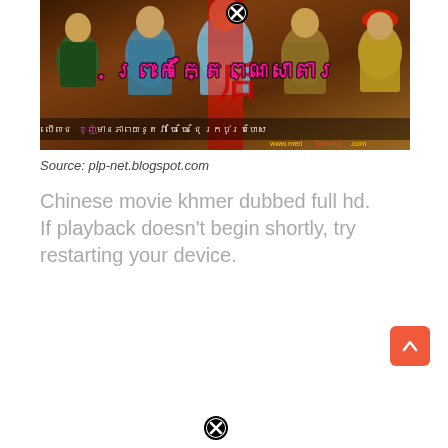[Figure (photo): Movie poster for a Chinese historical drama with Khmer title text overlay. Shows several actors in traditional Chinese imperial costumes. Title text in Khmer script in pink/red. Subtitle text in Khmer in yellow and magenta. Website url www.meriRocung.com shown at bottom right.]
Source: plp-net.blogspot.com
Chinese movie khmer dubbed full hd. If playback doesn't begin shortly, try restarting your device.